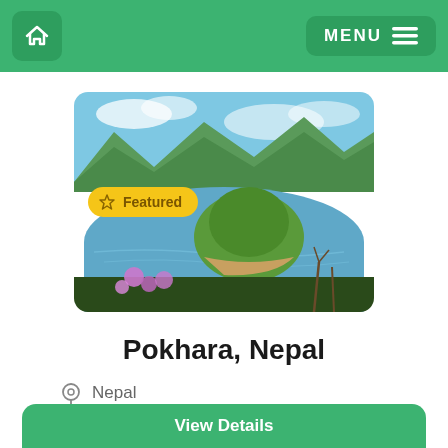Home | MENU
[Figure (photo): Aerial landscape photo of a winding river forming a horseshoe bend around a green hill, with mountains and purple wildflowers in the foreground, under a partly cloudy blue sky. A yellow 'Featured' badge with a crown icon overlays the image.]
Pokhara, Nepal
Nepal
View Details